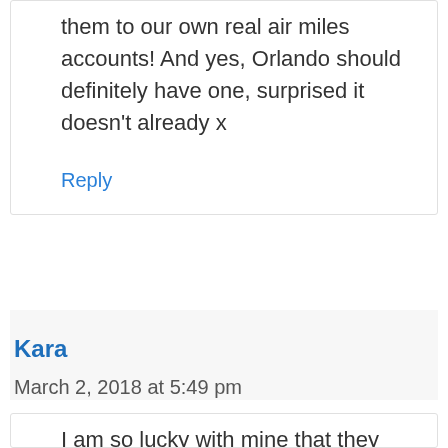them to our own real air miles accounts! And yes, Orlando should definitely have one, surprised it doesn't already x
Reply
Kara
March 2, 2018 at 5:49 pm
I am so lucky with mine that they all love flying, especially